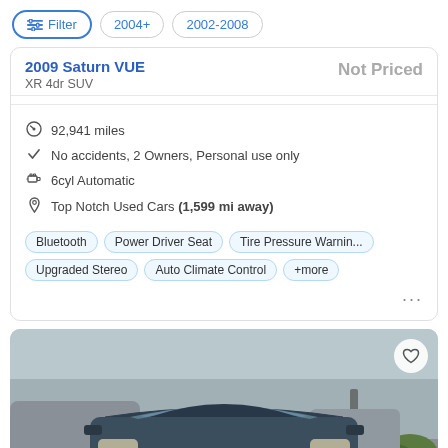Filter | 2004+ | 2002-2008
2009 Saturn VUE
XR 4dr SUV
Not Priced
92,941 miles
No accidents, 2 Owners, Personal use only
6cyl Automatic
Top Notch Used Cars (1,599 mi away)
Bluetooth | Power Driver Seat | Tire Pressure Warnin... | Upgraded Stereo | Auto Climate Control | +more
[Figure (photo): Front view of a dark blue SUV (2009 Saturn VUE) in a dealership lot, with other vehicles visible in background]